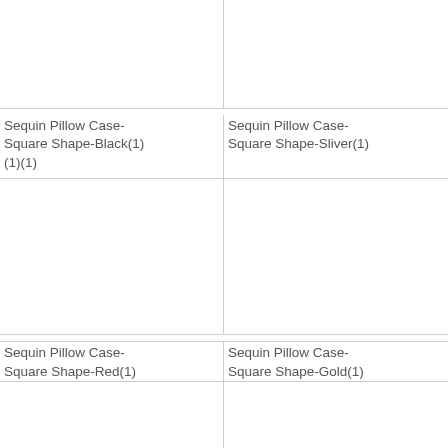[Figure (photo): Product image area - Sequin Pillow Case Square Shape Black (cropped, top of page)]
[Figure (photo): Product image area - Sequin Pillow Case Square Shape Sliver (cropped, top of page)]
Sequin Pillow Case-
Square Shape-Black(1)
(1)(1)
Sequin Pillow Case-
Square Shape-Sliver(1)
[Figure (photo): Product image area - Sequin Pillow Case Square Shape Black]
[Figure (photo): Product image area - Sequin Pillow Case Square Shape Sliver]
Sequin Pillow Case-
Square Shape-Red(1)
Sequin Pillow Case-
Square Shape-Gold(1)
[Figure (photo): Product image area - Sequin Pillow Case Square Shape Red (partial, bottom of page)]
[Figure (photo): Product image area - Sequin Pillow Case Square Shape Gold (partial, bottom of page)]